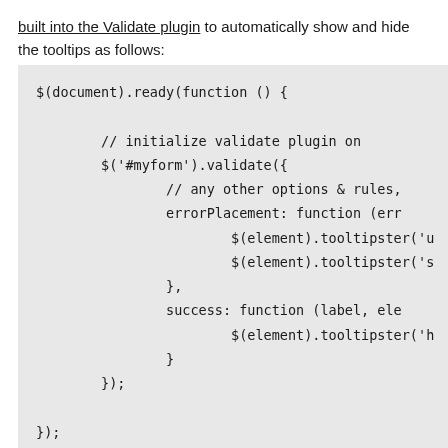built into the Validate plugin to automatically show and hide the tooltips as follows:
$(document).ready(function () {

        // initialize validate plugin on
        $('#myform').validate({
                // any other options & rules,
                errorPlacement: function (err
                        $(element).tooltipster('u
                        $(element).tooltipster('s
                },
                success: function (label, ele
                        $(element).tooltipster('h
                }
        });

});